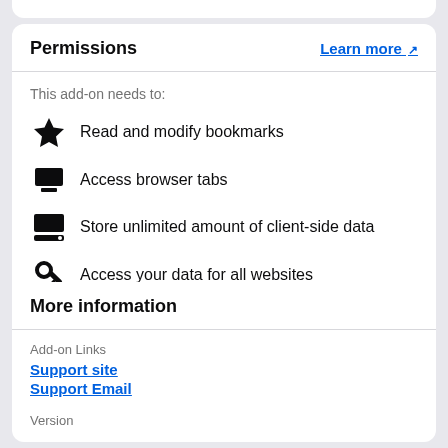Permissions
Learn more
This add-on needs to:
Read and modify bookmarks
Access browser tabs
Store unlimited amount of client-side data
Access your data for all websites
More information
Add-on Links
Support site
Support Email
Version